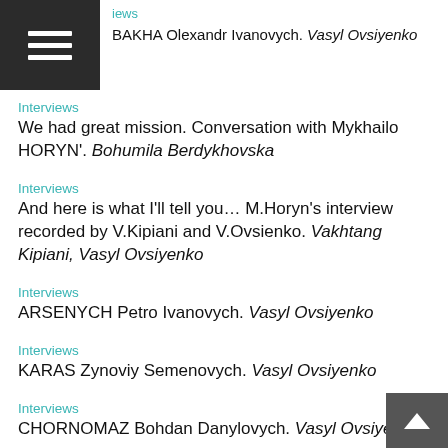Interviews — BAKHA Olexandr Ivanovych. Vasyl Ovsiyenko
Interviews
We had great mission. Conversation with Mykhailo HORYN'. Bohumila Berdykhovska
Interviews
And here is what I'll tell you… M.Horyn's interview recorded by V.Kipiani and V.Ovsienko. Vakhtang Kipiani, Vasyl Ovsiyenko
Interviews
ARSENYCH Petro Ivanovych. Vasyl Ovsiyenko
Interviews
KARAS Zynoviy Semenovych. Vasyl Ovsiyenko
Interviews
CHORNOMAZ Bohdan Danylovych. Vasyl Ovsiyenko
Interviews
KAMPOV Pavlo Fedorovych. Vasyl Ovsiyenko